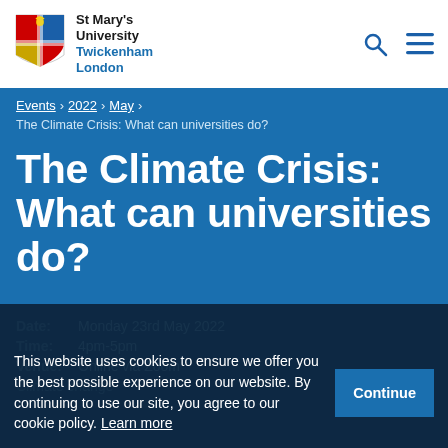St Mary's University Twickenham London
Events > 2022 > May >
The Climate Crisis: What can universities do?
The Climate Crisis: What can universities do?
Date:   Monday 23rd May 2022
Time:   4pm-5pm
Venue:  Online via Zoom
Climate change
This website uses cookies to ensure we offer you the best possible experience on our website. By continuing to use our site, you agree to our cookie policy. Learn more